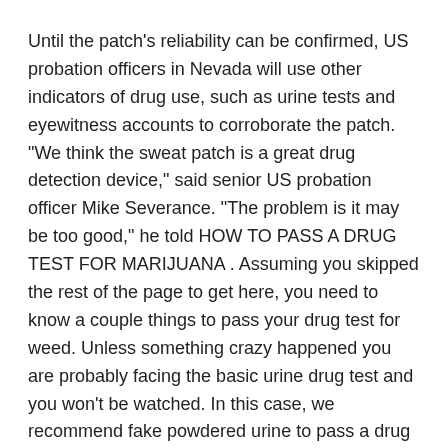Until the patch's reliability can be confirmed, US probation officers in Nevada will use other indicators of drug use, such as urine tests and eyewitness accounts to corroborate the patch. "We think the sweat patch is a great drug detection device," said senior US probation officer Mike Severance. "The problem is it may be too good," he told HOW TO PASS A DRUG TEST FOR MARIJUANA . Assuming you skipped the rest of the page to get here, you need to know a couple things to pass your drug test for weed. Unless something crazy happened you are probably facing the basic urine drug test and you won't be watched. In this case, we recommend fake powdered urine to pass a drug test for
The PharmChekB® Sweat Patch (or Drug Patch) by PharmChem, Inc. is worn on the skin for up to 10 days or longer and uses sweat as the specimen source.